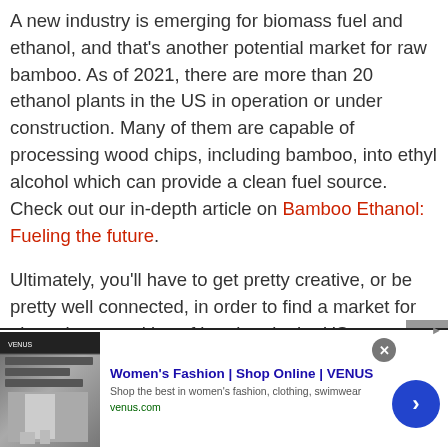A new industry is emerging for biomass fuel and ethanol, and that's another potential market for raw bamboo. As of 2021, there are more than 20 ethanol plants in the US in operation or under construction. Many of them are capable of processing wood chips, including bamboo, into ethyl alcohol which can provide a clean fuel source. Check out our in-depth article on Bamboo Ethanol: Fueling the future.
Ultimately, you'll have to get pretty creative, or be pretty well connected, in order to find a market for plantation quantities of bamboo in the US. Otherwise, you should consider
[Figure (other): Advertisement for Women's Fashion | Shop Online | VENUS. Shows a woman in fashion clothing. Text: Shop the best in women's fashion, clothing, swimwear. URL: venus.com]